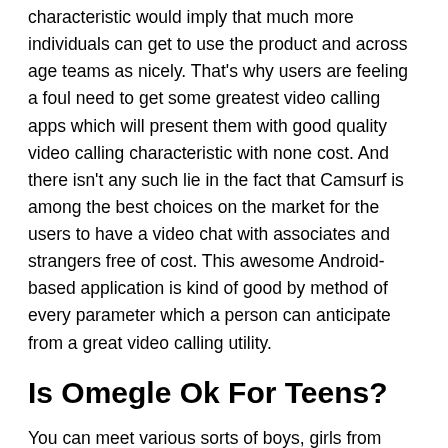characteristic would imply that much more individuals can get to use the product and across age teams as nicely. That's why users are feeling a foul need to get some greatest video calling apps which will present them with good quality video calling characteristic with none cost. And there isn't any such lie in the fact that Camsurf is among the best choices on the market for the users to have a video chat with associates and strangers free of cost. This awesome Android-based application is kind of good by method of every parameter which a person can anticipate from a great video calling utility.
Is Omegle Ok For Teens?
You can meet various sorts of boys, girls from totally different countries. They have a gender filter the place you'll find a way to choose individuals you need to chat with,